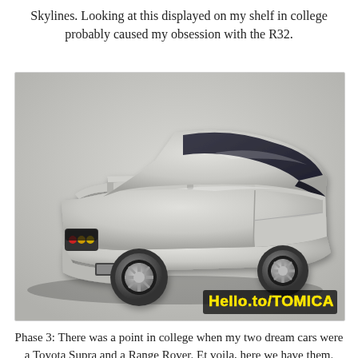Skylines. Looking at this displayed on my shelf in college probably caused my obsession with the R32.
[Figure (photo): A silver die-cast toy car model (appears to be a Toyota Supra) photographed from a rear three-quarter angle against a grey background. The model has visible tail lights, a rear spoiler, and detailed wheels. A watermark reads 'Hello.to/TOMICA' in the lower right corner.]
Phase 3: There was a point in college when my two dream cars were a Toyota Supra and a Range Rover. Et voila, here we have them.